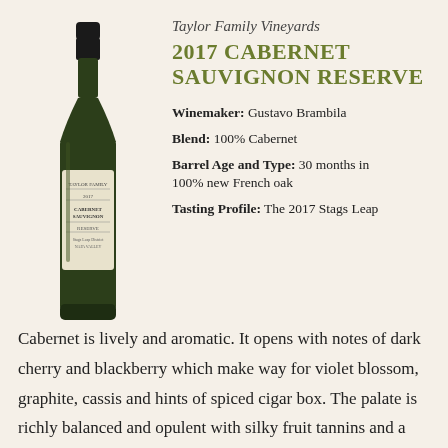[Figure (photo): Dark wine bottle with black cap and cream label reading Taylor Family Cabernet Sauvignon Reserve]
Taylor Family Vineyards
2017 CABERNET SAUVIGNON RESERVE
Winemaker: Gustavo Brambila
Blend: 100% Cabernet
Barrel Age and Type: 30 months in 100% new French oak
Tasting Profile: The 2017 Stags Leap Cabernet is lively and aromatic. It opens with notes of dark cherry and blackberry which make way for violet blossom, graphite, cassis and hints of spiced cigar box. The palate is richly balanced and opulent with silky fruit tannins and a long